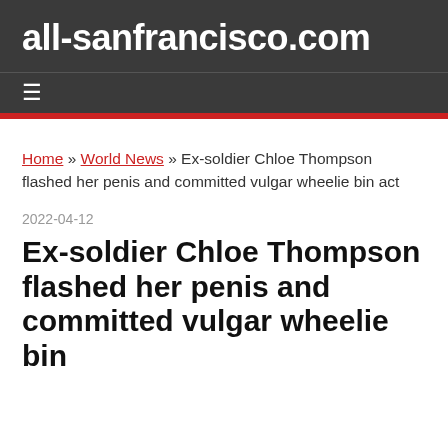all-sanfrancisco.com
≡
Home » World News » Ex-soldier Chloe Thompson flashed her penis and committed vulgar wheelie bin act
2022-04-12
Ex-soldier Chloe Thompson flashed her penis and committed vulgar wheelie bin